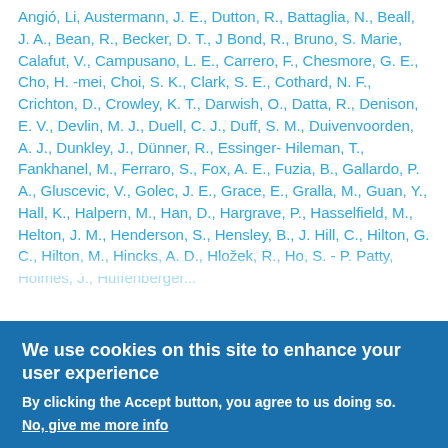Angió, Li, Austermann, J. E., Dutton, R., Battaglia, N., Beall, J. A., Bean, R., Becker, D. T., J Bond, R., Bruno, S. Marie, Calafut, V., Campusano, L. E., Carrero, F., Chesmore, G. E., Cho, H. -mei, Choi, S. K., Clark, S. E., Cothard, N. F., Crichton, D., Crowley, K. T., Darwish, O., Datta, R., Denison, E. V., Devlin, M. J., Duell, C. J., Duff, S. M., Duivenvoorden, A. J., Dunkley, J., Dünner, R., Essinger-Hileman, T., Fankhanel, M., Ferraro, S., Fox, A. E., Fuzia, B., Gallardo, P. A., Gluscevic, V., Golec, J. E., Grace, E., Gralla, M., Guan, Y., Hall, K., Halpern, M., Han, D., Hargrave, P., Hasselfield, M., Helton, J. M., Henderson, S., Hensley, B., J. Hill, C., Hilton, G. C., Hilton, M., Hincks, A. D., Hložek, R., Ho, S. - P. Patty, Holmes, J., Huffenberger, K., MacLaughlan, J.R.
We use cookies on this site to enhance your user experience
By clicking the Accept button, you agree to us doing so.
No, give me more info